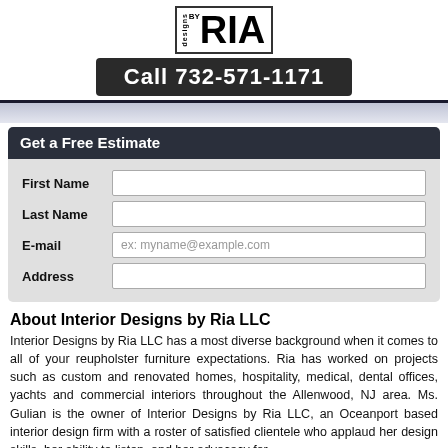[Figure (logo): Designs by RIA logo with text in a bordered box]
Call 732-571-1171
Get a Free Estimate
First Name
Last Name
E-mail
Address
About Interior Designs by Ria LLC
Interior Designs by Ria LLC has a most diverse background when it comes to all of your reupholster furniture expectations. Ria has worked on projects such as custom and renovated homes, hospitality, medical, dental offices, yachts and commercial interiors throughout the Allenwood, NJ area. Ms. Gulian is the owner of Interior Designs by Ria LLC, an Oceanport based interior design firm with a roster of satisfied clientele who applaud her design skills, her ability to listen, and her advocacy for